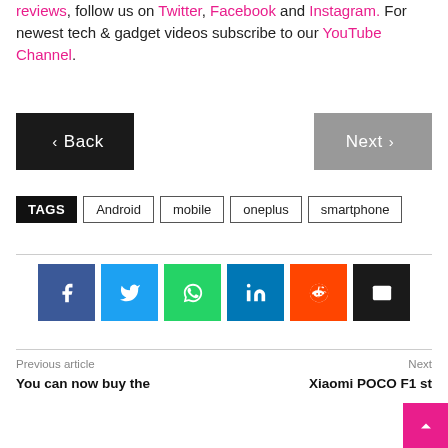reviews, follow us on Twitter, Facebook and Instagram. For newest tech & gadget videos subscribe to our YouTube Channel.
‹ Back | Next ›
TAGS Android mobile oneplus smartphone
[Figure (infographic): Social media share buttons: Facebook, Twitter, WhatsApp, LinkedIn, Reddit, Email]
Previous article: You can now buy the | Next: Xiaomi POCO F1 st